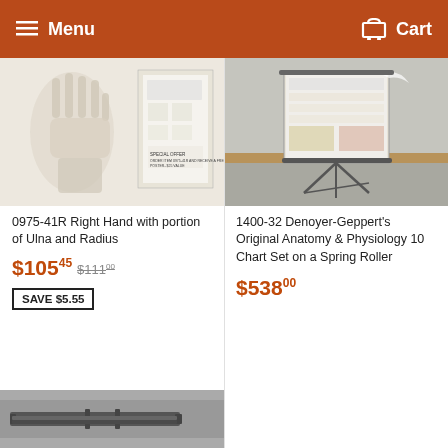Menu  Cart
[Figure (photo): Anatomical model of right hand skeleton with ulna and radius, shown alongside a poster with hand anatomy diagrams. Special offer text visible on poster.]
0975-41R Right Hand with portion of Ulna and Radius
$105.45  $111.00
SAVE $5.55
[Figure (photo): Anatomy and physiology chart set on a spring roller display stand, showing multiple anatomical charts on a tripod easel.]
1400-32 Denoyer-Geppert's Original Anatomy & Physiology 10 Chart Set on a Spring Roller
$538.00
[Figure (photo): Partial view of a third product, appears to be a metal frame or stand component on a gray background.]